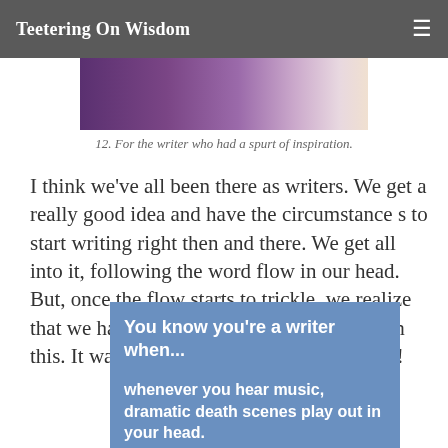Teetering On Wisdom
[Figure (photo): Partial image visible at top, appears to be a person or scene with purple/pink tones]
12. For the writer who had a spurt of inspiration.
I think we've all been there as writers. We get a really good idea and have the circumstance s to start writing right then and there. We get all into it, following the word flow in our head. But, once the flow starts to trickle, we realize that we have no idea where we're going with this. It was awesome while it lasted, though!
[Figure (infographic): Blue box with white bold text reading: 'You know you're a writer when... whenever you hear music, dramatic death scenes play out in your head.']